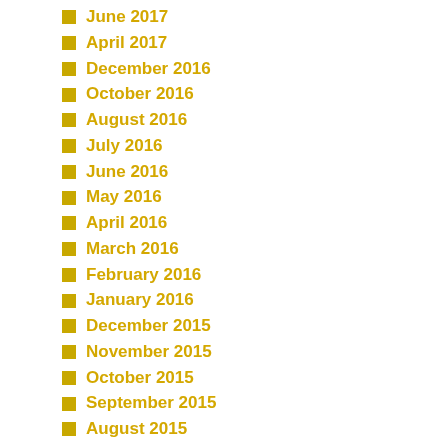June 2017
April 2017
December 2016
October 2016
August 2016
July 2016
June 2016
May 2016
April 2016
March 2016
February 2016
January 2016
December 2015
November 2015
October 2015
September 2015
August 2015
July 2015
June 2015
May 2015
April 2015